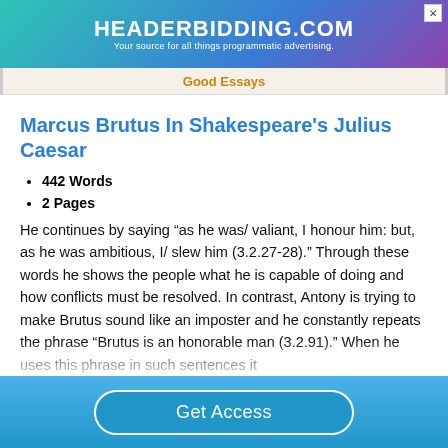[Figure (screenshot): HEADERBIDDING.COM advertisement banner — Your source for all things programmatic advertising.]
Good Essays
Marcus Brutus In Shakespeare's Julius Caesar
442 Words
2 Pages
He continues by saying “as he was/ valiant, I honour him: but, as he was ambitious, I/ slew him (3.2.27-28).” Through these words he shows the people what he is capable of doing and how conflicts must be resolved. In contrast, Antony is trying to make Brutus sound like an imposter and he constantly repeats the phrase “Brutus is an honorable man (3.2.91).” When he uses this phrase in such sentences it
Get Access